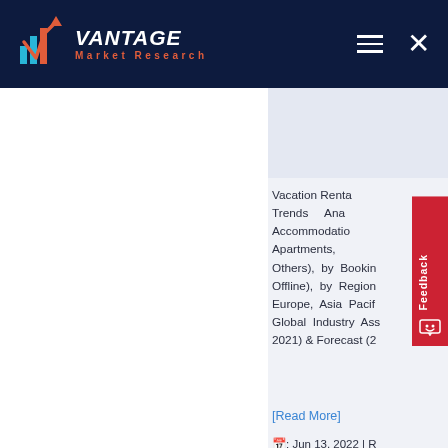Vantage Market Research
Vacation Rental Market Size, Share & Trends Analysis Report by Accommodation (Home, Apartments, Villas, Others), by Booking Mode (Online, Offline), by Region (North America, Europe, Asia Pacific, ...) | Global Industry Assessment (2016 - 2021) & Forecast (20...
[Read More]
: Jun 13, 2022 |